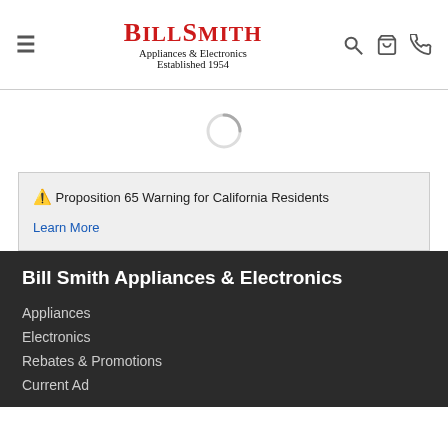BillSmith Appliances & Electronics Established 1954
[Figure (other): Loading spinner circle]
⚠️ Proposition 65 Warning for California Residents
Learn More
Bill Smith Appliances & Electronics
Appliances
Electronics
Rebates & Promotions
Current Ad